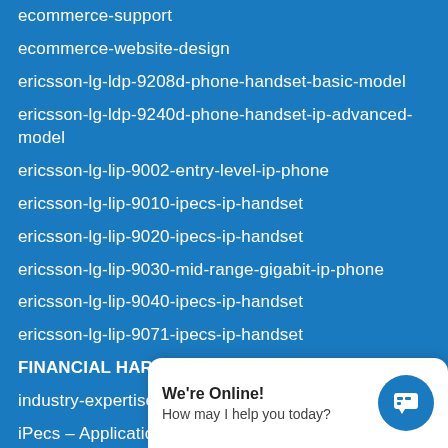ecommerce-support
ecommerce-website-design
ericsson-lg-ldp-9208d-phone-handset-basic-model
ericsson-lg-ldp-9240d-phone-handset-ip-advanced-model
ericsson-lg-lip-9002-entry-level-ip-phone
ericsson-lg-lip-9010-ipecs-ip-handset
ericsson-lg-lip-9020-ipecs-ip-handset
ericsson-lg-lip-9030-mid-range-gigabit-ip-phone
ericsson-lg-lip-9040-ipecs-ip-handset
ericsson-lg-lip-9071-ipecs-ip-handset
FINANCIAL HARDSHIP POLICY
industry-expertise
iPecs – Applications
iPecs – Brochures
iPecs – Button Te…
iPECS – Ericsson-…
We're Online! How may I help you today?